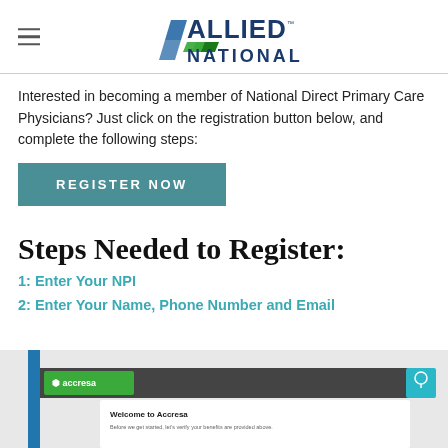ALLIED NATIONAL — A 90 Degree Benefits Company
Interested in becoming a member of National Direct Primary Care Physicians? Just click on the registration button below, and complete the following steps:
Register Now
Steps Needed to Register:
1: Enter Your NPI
2: Enter Your Name, Phone Number and Email
[Figure (screenshot): Screenshot of the Accresa portal welcome screen showing the Accresa logo and a 'Welcome to Accresa' heading with introductory text.]